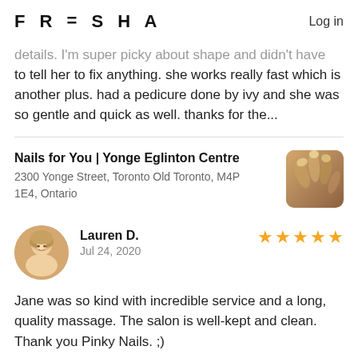FRESHA   Log in
details. I'm super picky about shape and didn't have to tell her to fix anything. she works really fast which is another plus. had a pedicure done by ivy and she was so gentle and quick as well. thanks for the...
Nails for You | Yonge Eglinton Centre
2300 Yonge Street, Toronto Old Toronto, M4P 1E4, Ontario
[Figure (photo): Thumbnail photo of nail art on hands]
Lauren D.
Jul 24, 2020
★★★★★
[Figure (photo): Circular avatar photo of Lauren D., a woman with blonde hair]
Jane was so kind with incredible service and a long, quality massage. The salon is well-kept and clean. Thank you Pinky Nails. ;)